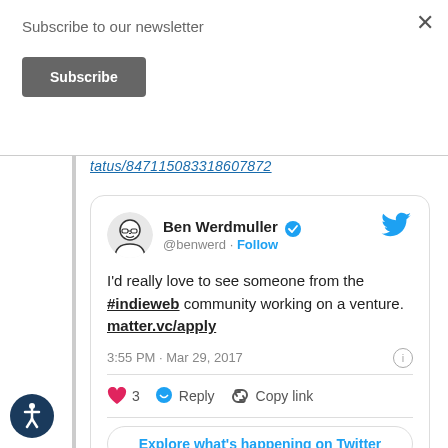Subscribe to our newsletter
Subscribe
tatus/847115083318607872
[Figure (screenshot): Embedded tweet from @benwerd (Ben Werdmuller) saying: I'd really love to see someone from the #indieweb community working on a venture. matter.vc/apply — posted at 3:55 PM · Mar 29, 2017, with 3 likes, Reply and Copy link actions, and an Explore what's happening on Twitter button.]